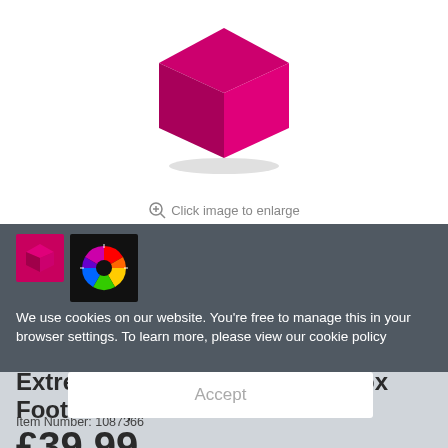[Figure (photo): Pink cube-shaped footstool product image on white background]
Click image to enlarge
We use cookies on our website. You're free to manage this in your browser settings. To learn more, please view our cookie policy
Extreme Lounging Mighty B-Box Footstool, Pink
Item Number: 1087366
£39.99